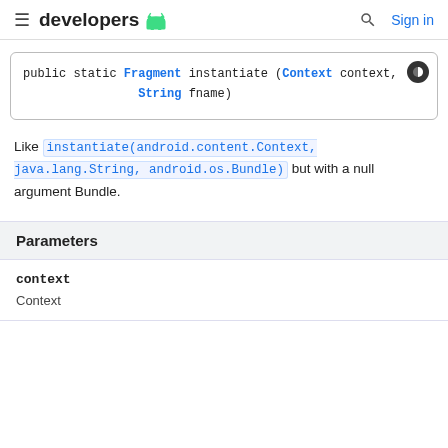developers [android logo] | [search] Sign in
Like instantiate(android.content.Context, java.lang.String, android.os.Bundle) but with a null argument Bundle.
| Parameters |
| --- |
| context |
| Context |